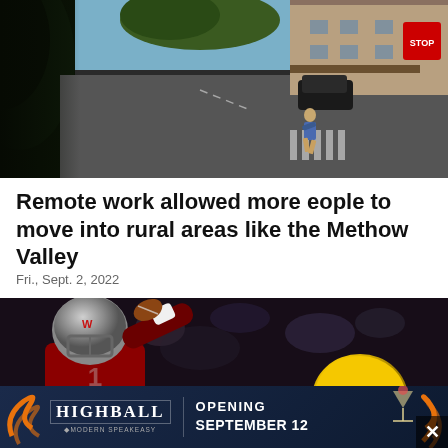[Figure (photo): Aerial/elevated view of a small town street with road, crosswalk, a pedestrian crossing, storefronts on the right, and trees on the left. A stop sign is visible.]
Remote work allowed more eople to move into rural areas like the Methow Valley
Fri., Sept. 2, 2022
[Figure (photo): Football player in crimson jersey and gray helmet catching or reaching for a football. Another player with a yellow Vandals helmet visible in the background. Crowd in the background.]
[Figure (other): Advertisement banner for HIGHBALL Modern Speakeasy - Opening September 12, dark blue background with orange decorative swirls and a martini glass icon.]